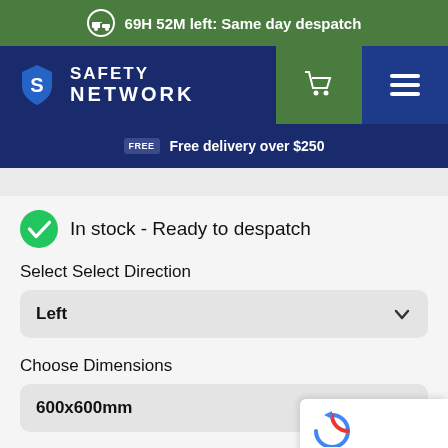69H 52M left: Same day despatch
[Figure (logo): Safety Network logo with S shield icon, white text on dark blue background]
Free delivery over $250
In stock - Ready to despatch
Select Select Direction
Left
Choose Dimensions
600x600mm
Choose Material